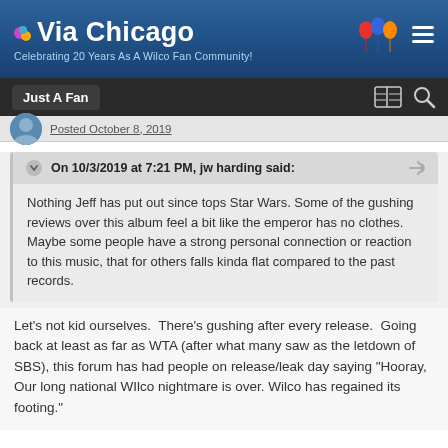Via Chicago — Celebrating 20 Years As A Wilco Fan Community!
Just A Fan
Posted October 8, 2019
On 10/3/2019 at 7:21 PM, jw harding said: Nothing Jeff has put out since tops Star Wars. Some of the gushing reviews over this album feel a bit like the emperor has no clothes. Maybe some people have a strong personal connection or reaction to this music, that for others falls kinda flat compared to the past records.
Let's not kid ourselves.  There's gushing after every release.  Going back at least as far as WTA (after what many saw as the letdown of SBS), this forum has had people on release/leak day saying "Hooray, Our long national WIlco nightmare is over. Wilco has regained its footing."